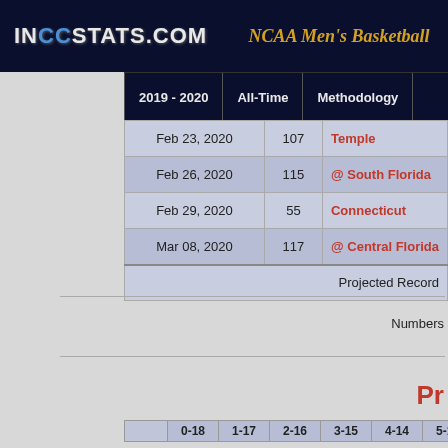INCCStats.Com   NCAA Men's Basketball
2019 - 2020   All-Time   Methodology
| Date | Num | Opponent |
| --- | --- | --- |
| Feb 23, 2020 | 107 | Temple |
| Feb 26, 2020 | 115 | @ South Florida |
| Feb 29, 2020 | 55 | Connecticut |
| Mar 08, 2020 | 117 | @ Central Florida |
|  |  | Projected Record |
Numbers
Pr
|  | 0-18 | 1-17 | 2-16 | 3-15 | 4-14 | 5-13 | 6-12 |
| --- | --- | --- | --- | --- | --- | --- | --- |
|  |  |  |  |  |  |  |  |